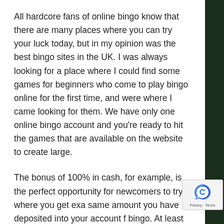All hardcore fans of online bingo know that there are many places where you can try your luck today, but in my opinion was the best bingo sites in the UK. I was always looking for a place where I could find some games for beginners who come to play bingo online for the first time, and were where I came looking for them. We have only one online bingo account and you're ready to hit the games that are available on the website to create large.
The bonus of 100% in cash, for example, is the perfect opportunity for newcomers to try, where you get exac same amount you have deposited into your account f bingo. At least I've never seen a place where I can get to see